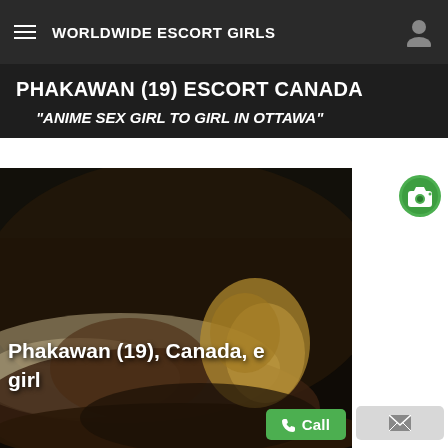WORLDWIDE ESCORT GIRLS
PHAKAWAN (19) ESCORT CANADA
"ANIME SEX GIRL TO GIRL IN OTTAWA"
[Figure (photo): Dark photo of a person on a bed, viewed from behind, with blonde hair, lying on light-colored pillows against a dark headboard.]
Phakawan (19), Canada, e girl
Call
✉